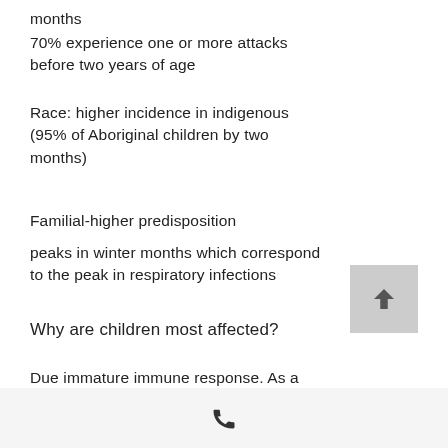months
70% experience one or more attacks before two years of age
Race: higher incidence in indigenous (95% of Aboriginal children by two months)
Familial-higher predisposition
peaks in winter months which correspond to the peak in respiratory infections
Why are children most affected?
Due immature immune response. As a result, children who attend day care are most prone, especially before the age of 2 years. Smoking in households also